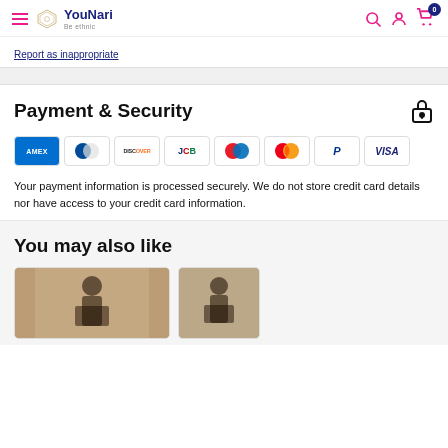YouNari – Be ethnic (navigation header with search, account, cart icons)
Report as inappropriate
Payment & Security
[Figure (other): Payment method logos: AMEX, Diners Club, Discover, JCB, Maestro, Mastercard, PayPal, VISA]
Your payment information is processed securely. We do not store credit card details nor have access to your credit card information.
You may also like
[Figure (photo): Two product card thumbnails showing women in ethnic clothing]